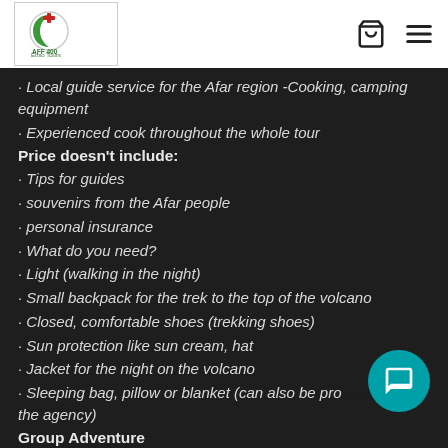Ethio Tours logo with cart and menu icons
· Local guide service for the Afar region -Cooking, camping equipment
· Experienced cook throughout the whole tour
Price doesn't include:
· Tips for guides
· souvenirs from the Afar people
· personal insurance
· What do you need?
· Light (walking in the night)
· Small backpack for the trek to the top of the volcano
· Closed, comfortable shoes (trekking shoes)
· Sun protection like sun cream, hat
· Jacket for the night on the volcano
· Sleeping bag, pillow or blanket (can also be provided by the agency)
Group Adventure